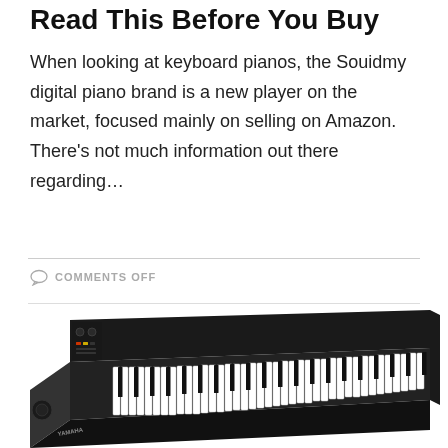Read This Before You Buy
When looking at keyboard pianos, the Souidmy digital piano brand is a new player on the market, focused mainly on selling on Amazon. There's not much information out there regarding…
COMMENTS OFF
[Figure (photo): A black digital piano/keyboard (Yamaha) shown in angled perspective view, with white and black keys visible, and control panel on top left.]